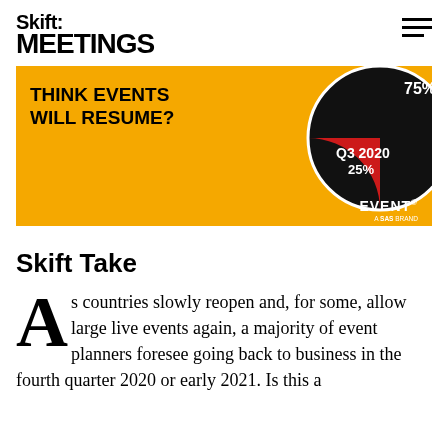Skift MEETINGS
[Figure (infographic): Advertisement banner with yellow background. Text reads 'THINK EVENTS WILL RESUME?' with a pie chart showing Q3 2020 at 25% (red slice) and 75% (black slice). EVENT logo in bottom right corner.]
Skift Take
As countries slowly reopen and, for some, allow large live events again, a majority of event planners foresee going back to business in the fourth quarter 2020 or early 2021. Is this a